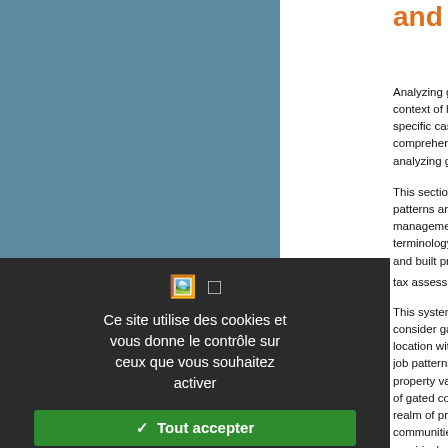and gated com
Analyzing gated communities in context of how property rights a specific case of gated enclaves. comprehensive review of more analyzing gated communities in c
This section focuses on how patterns and gated communi management issues, planning p terminology of "property values" and built property, and does not tax assessment 2.
This systemic analysis of comple consider gated enclaves as an location within the system of pro job patterns, polycentric pattern property values of (1) private urb of gated communities. Figure 1 realm of private governance in a communities and public bodies empirical and theoretical literat communities purposely impacts p
[Figure (screenshot): Cookie consent overlay panel with dark background showing French-language cookie notice. Contains two icons (thumbs up and mobile), text 'Ce site utilise des cookies et vous donne le contrôle sur ceux que vous souhaitez activer', green 'Tout accepter' button, red 'Tout refuser' button, white 'Personnaliser' button, and 'Politique de confidentialité' link.]